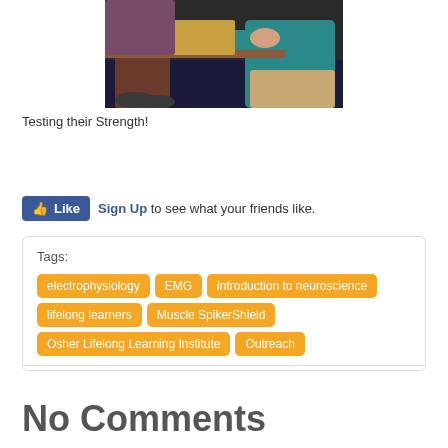[Figure (photo): Two people arm wrestling or testing strength at a table, one wearing a teal shirt]
Testing their Strength!
Sign Up to see what your friends like.
Tags: electrophysiology, EMG, introduction to neuroscience, lifelong learners, Muscle SpikerShield, Osher Lifelong Learning Institute, Outreach
No Comments